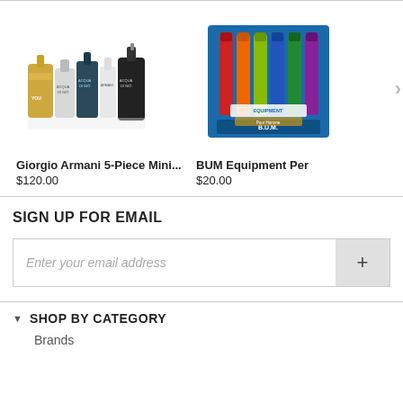[Figure (photo): Giorgio Armani 5-piece mini fragrance set bottles]
[Figure (photo): BUM Equipment Pour Homme fragrance set in colorful box]
Giorgio Armani 5-Piece Mini...
$120.00
BUM Equipment Per
$20.00
SIGN UP FOR EMAIL
Enter your email address
SHOP BY CATEGORY
Brands